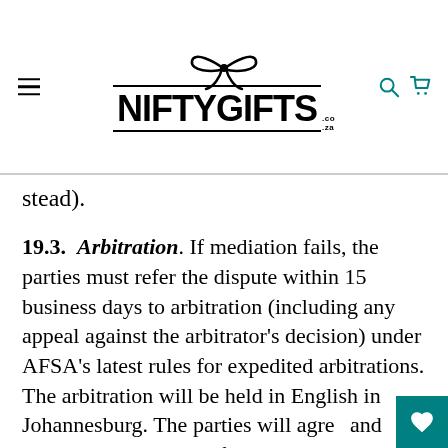NIFTYGIFTS.co.za
stead).
19.3. Arbitration. If mediation fails, the parties must refer the dispute within 15 business days to arbitration (including any appeal against the arbitrator's decision) under AFSA's latest rules for expedited arbitrations. The arbitration will be held in English in Johannesburg. The parties will agre and appoint an arbitrator. If the